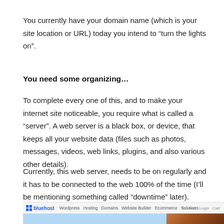You currently have your domain name (which is your site location or URL) today you intend to “turn the lights on”.
You need some organizing…
To complete every one of this, and to make your internet site noticeable, you require what is called a “server”. A web server is a black box, or device, that keeps all your website data (files such as photos, messages, videos, web links, plugins, and also various other details).
Currently, this web server, needs to be on regularly and it has to be connected to the web 100% of the time (I’ll be mentioning something called “downtime” later).
[Figure (screenshot): Screenshot of bluehost website homepage with navigation bar and partial hero image showing a blue background on the left and an orange/amber image on the right.]